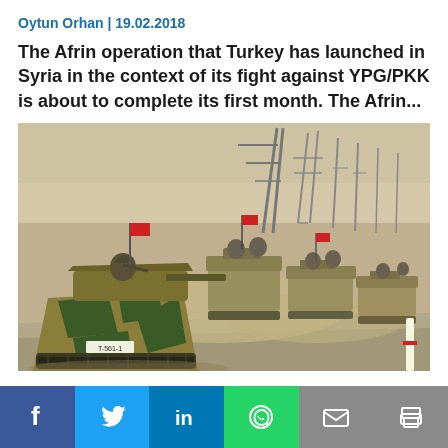Oytun Orhan | 19.02.2018
The Afrin operation that Turkey has launched in Syria in the context of its fight against YPG/PKK is about to complete its first month. The Afrin...
[Figure (photo): A convoy of Turkish military tanks (armored fighting vehicles in camouflage green and yellow) advancing on a road, with soldiers visible on top, red Turkish flags visible, dust clouds and power line towers in the background.]
Social sharing bar: Facebook, Twitter, LinkedIn, WhatsApp, Email, Print